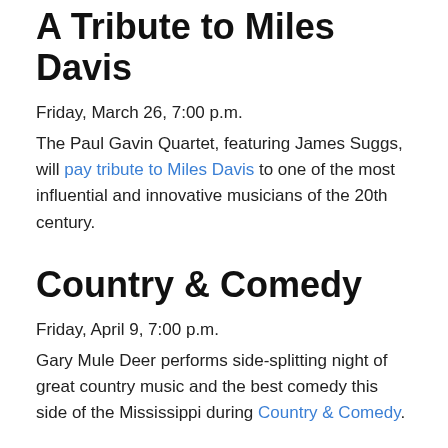A Tribute to Miles Davis
Friday, March 26, 7:00 p.m.
The Paul Gavin Quartet, featuring James Suggs, will pay tribute to Miles Davis to one of the most influential and innovative musicians of the 20th century.
Country & Comedy
Friday, April 9, 7:00 p.m.
Gary Mule Deer performs side-splitting night of great country music and the best comedy this side of the Mississippi during Country & Comedy.
Groove That Makes Yo' Booty